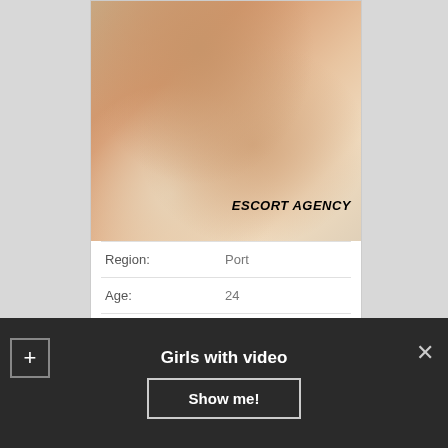[Figure (photo): Photo of a person on a bed with text overlay reading ESCORT AGENCY]
| Region: | Port |
| Age: | 24 |
| Height: | 177 cm |
Girls with video
Show me!